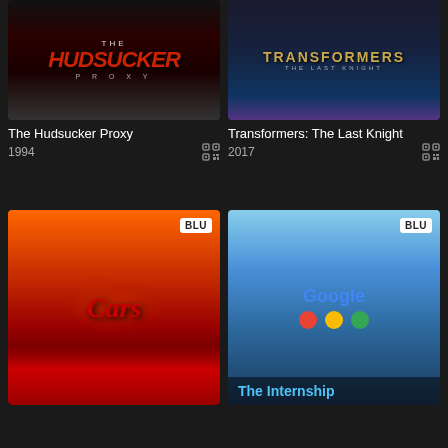[Figure (screenshot): Movie poster for The Hudsucker Proxy (1994) showing stylized red title text on dark background]
The Hudsucker Proxy
1994
[Figure (screenshot): Movie poster for Transformers: The Last Knight (2017) with gold Transformers logo on dark blue background]
Transformers: The Last Knight
2017
[Figure (screenshot): Movie poster for Cars (Pixar) showing Lightning McQueen and Cars logo, BLU badge in top-right corner]
[Figure (screenshot): Movie poster for The Internship showing two men at Google, BLU badge in top-right corner, partial title text at bottom]